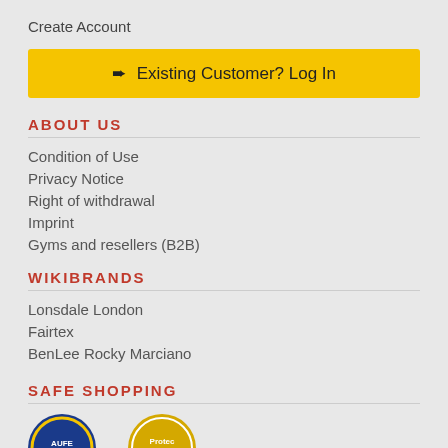Create Account
➨ Existing Customer? Log In
ABOUT US
Condition of Use
Privacy Notice
Right of withdrawal
Imprint
Gyms and resellers (B2B)
WIKIBRANDS
Lonsdale London
Fairtex
BenLee Rocky Marciano
SAFE SHOPPING
[Figure (logo): Two trust/certification badge logos partially visible at bottom of page]